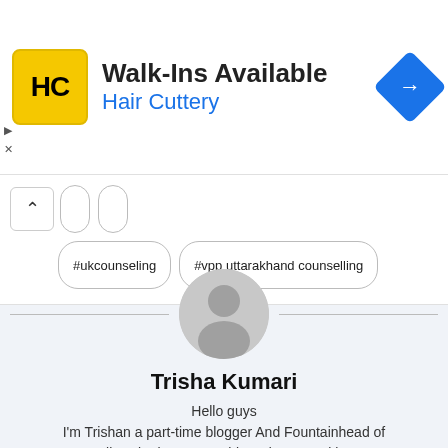[Figure (other): Hair Cuttery advertisement banner with logo, text 'Walk-Ins Available', 'Hair Cuttery', and navigation icon]
#ukcounseling
#vpp uttarakhand counselling
[Figure (illustration): Generic user profile avatar with grey circle and person silhouette]
Trisha Kumari
Hello guys
I'm Trishan a part-time blogger And Fountainhead of 'All Sarkari Posts Dashboard'. I am writing informative content for Internet users since 2022.